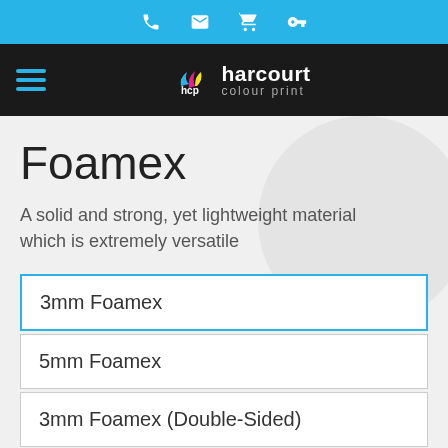Harcourt Colour Print — top navigation bar with phone, email, basket, key icons
[Figure (logo): Harcourt Colour Print logo on black nav bar with hamburger menu]
Foamex
A solid and strong, yet lightweight material which is extremely versatile
3mm Foamex
5mm Foamex
3mm Foamex (Double-Sided)